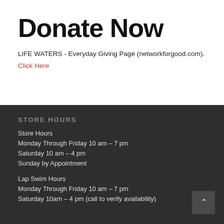Donate Now
LIFE WATERS - Everyday Giving Page (networkforgood.com).
Click Here
STORE HOURS
Store Hours
Monday Through Friday 10 am – 7 pm
Saturday 10 am – 4 pm
Sunday by Appointment
Lap Swim Hours
Monday Through Friday 10 am – 7 pm
Saturday 10am – 4 pm (call to verify availability)